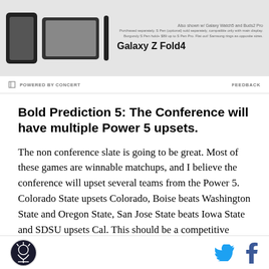[Figure (photo): Samsung Galaxy Z Fold4 advertisement banner showing phone and accessories]
POWERED BY CONCERT    FEEDBACK
Bold Prediction 5: The Conference will have multiple Power 5 upsets.
The non conference slate is going to be great. Most of these games are winnable matchups, and I believe the conference will upset several teams from the Power 5.  Colorado State upsets Colorado, Boise beats Washington State and Oregon State, San Jose State beats Iowa State and SDSU upsets Cal. This should be a competitive conference this year and upsetting teams will catch attention of the rest of the country
Logo and social share icons (Twitter, Facebook)